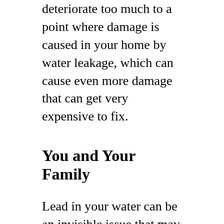deteriorate too much to a point where damage is caused in your home by water leakage, which can cause even more damage that can get very expensive to fix.
You and Your Family
Lead in your water can be an invisible issue that may go unnoticed for years until very visible damage is caused to your family's health. While every member of a family can be negatively affected, infants, young children, and pregnant women are the highest risk for visible health damage. According to a HealthyChildren article, infants drinking formula prepared with lead-